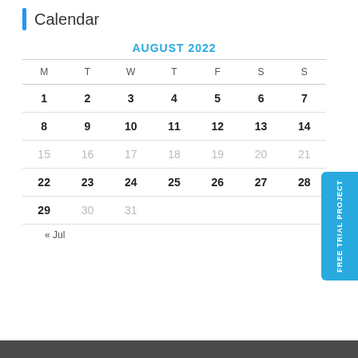Calendar
| M | T | W | T | F | S | S |
| --- | --- | --- | --- | --- | --- | --- |
| 1 | 2 | 3 | 4 | 5 | 6 | 7 |
| 8 | 9 | 10 | 11 | 12 | 13 | 14 |
| 15 | 16 | 17 | 18 | 19 | 20 | 21 |
| 22 | 23 | 24 | 25 | 26 | 27 | 28 |
| 29 | 30 | 31 |  |  |  |  |
AUGUST 2022
« Jul